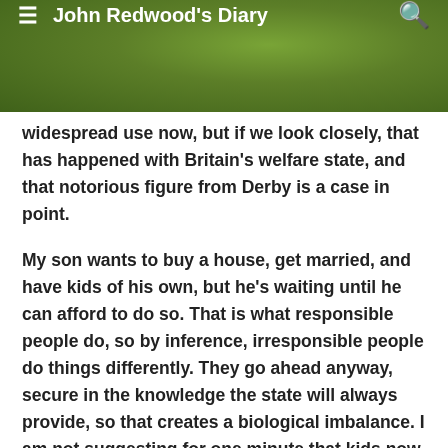John Redwood's Diary
widespread use now, but if we look closely, that has happened with Britain's welfare state, and that notorious figure from Derby is a case in point.
My son wants to buy a house, get married, and have kids of his own, but he's waiting until he can afford to do so. That is what responsible people do, so by inference, irresponsible people do things differently. They go ahead anyway, secure in the knowledge the state will always provide, so that creates a biological imbalance. I am not suggesting for one minute that kids now born to irresponsible parents, should be denied food, warmth, an education, and a chance in life, but somebody has to grasp the nettle somewhere along the line, and it seems the only weapon in the armoury at the government's immediate disposal, is to make such